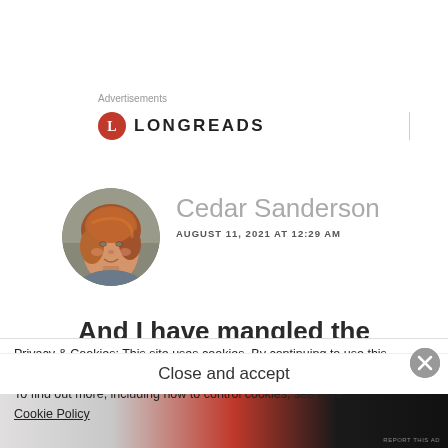Advertisements
[Figure (logo): Longreads logo: red circle with white L, followed by LONGREADS in bold caps]
[Figure (photo): Circular avatar photo of Cedar Sanderson, a woman with reddish hair, smiling]
Cedar Sanderson
AUGUST 11, 2021 AT 12:29 AM
And I have mangled the
Privacy & Cookies: This site uses cookies. By continuing to use this website, you agree to their use.
To find out more, including how to control cookies, see here:
Cookie Policy
Close and accept